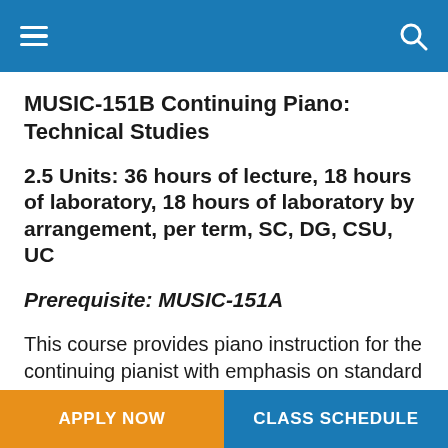MUSIC-151B Continuing Piano: Technical Studies
2.5 Units: 36 hours of lecture, 18 hours of laboratory, 18 hours of laboratory by arrangement, per term, SC, DG, CSU, UC
Prerequisite: MUSIC-151A
This course provides piano instruction for the continuing pianist with emphasis on standard finger patterns and cross-hand
APPLY NOW | CLASS SCHEDULE